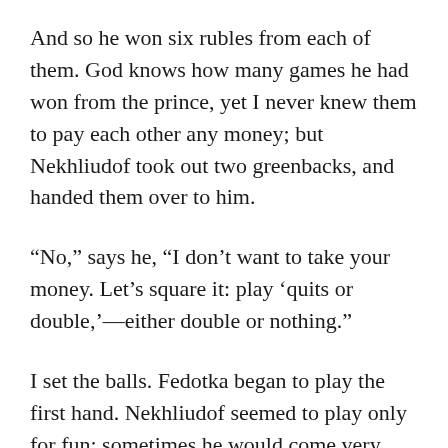And so he won six rubles from each of them. God knows how many games he had won from the prince, yet I never knew them to pay each other any money; but Nekhliudof took out two greenbacks, and handed them over to him.
“No,” says he, “I don’t want to take your money. Let’s square it: play ‘quits or double,’—either double or nothing.”
I set the balls. Fedotka began to play the first hand. Nekhliudof seemed to play only for fun: sometimes he would come very near winning a game, yet just fail of it. Says he, “It would be too easy a move, I won’t have it so.” But Fedotka did not forget what he was up to. Carelessly he proceeded with the game, and thus,